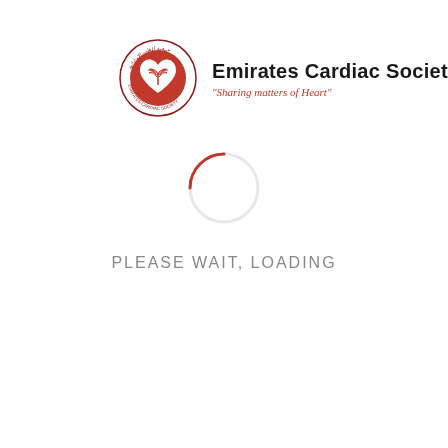[Figure (logo): Emirates Cardiac Society logo: circular emblem with red heart and palm tree design, Arabic text around border, alongside organization name 'Emirates Cardiac Society' and tagline 'Sharing matters of Heart']
[Figure (other): Loading spinner: circular arc in red/pink color indicating loading state]
PLEASE WAIT, LOADING